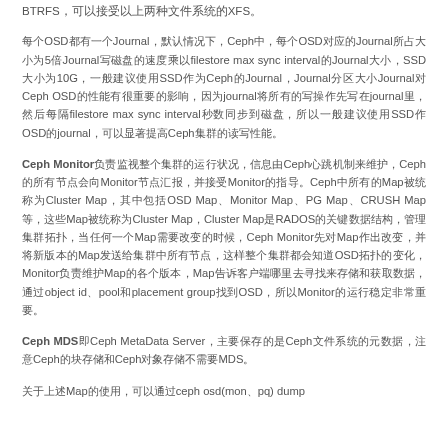BTRFS，可以接受以上两种文件系统的XFS。
每个OSD都有一个Journal，默认情况下，Ceph中，每个OSD对应的Journal所占大小为5倍Journal写磁盘的速度乘以filestore max sync interval的Journal大小，SSD大小为10G，一般建议使用SSD作为Ceph的Journal，Journal分区大小Journal对Ceph OSD的性能有很重要的影响，因为journal将所有的写操作先写在journal里，然后每隔filestore max sync interval秒数同步到磁盘，所以一般建议使用SSD作OSD的journal，可以显著提高Ceph集群的读写性能。
Ceph Monitor负责监视整个集群的运行状况，信息由Ceph心跳机制来维护，Ceph的所有节点会向Monitor节点汇报，并接受Monitor的指导。Ceph中所有的Map被统称为Cluster Map，其中包括OSD Map、Monitor Map、PG Map、CRUSH Map等，这些Map被统称为Cluster Map，Cluster Map是RADOS的关键数据结构，管理集群拓扑，当任何一个Map需要改变的时候，Ceph Monitor先对Map作出改变，并将新版本的Map发送给集群中所有节点，这样整个集群都会知道OSD拓扑的变化，Monitor负责维护Map的各个版本，Map告诉客户端哪里去寻找来存储和获取数据，通过object id、pool和placement group找到OSD，所以Monitor的运行稳定非常重要。
Ceph MDS即Ceph MetaData Server，主要保存的是Ceph文件系统的元数据，注意Ceph的块存储和Ceph对象存储不需要MDS。
关于上述Map的使用，可以通过ceph osd(mon、pq) dump